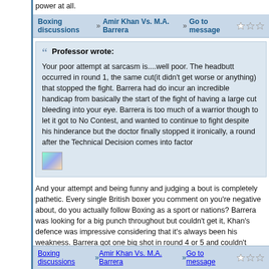power at all.
Boxing discussions » Amir Khan Vs. M.A. Barrera » Go to message
Professor wrote: Your poor attempt at sarcasm is....well poor. The headbutt occurred in round 1, the same cut(it didn't get worse or anything) that stopped the fight. Barrera had do incur an incredible handicap from basically the start of the fight of having a large cut bleeding into your eye. Barrera is too much of a warrior though to let it got to No Contest, and wanted to continue to fight despite his hinderance but the doctor finally stopped it ironically, a round after the Technical Decision comes into factor
And your attempt and being funny and judging a bout is completely pathetic. Every single British boxer you comment on you're negative about, do you actually follow Boxing as a sport or nations? Barrera was looking for a big punch throughout but couldn't get it, Khan's defence was impressive considering that it's always been his weakness. Barrera got one big shot in round 4 or 5 and couldn't make anything of it, Khan took it and continued to dazzle Barrera with his work rate and speed. Barrera never had a chance, he's past it. In his prime, most likely, but he didn't look like he had anything on Khan bar experience, Khan had all the physical advantages and used them to batter him.
Boxing discussions » Amir Khan Vs. M.A. Barrera » Go to message